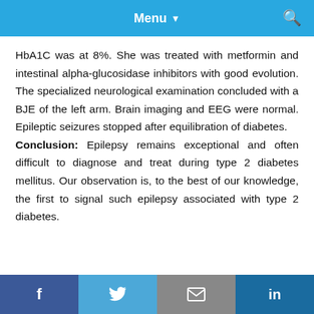Menu
HbA1C was at 8%. She was treated with metformin and intestinal alpha-glucosidase inhibitors with good evolution. The specialized neurological examination concluded with a BJE of the left arm. Brain imaging and EEG were normal. Epileptic seizures stopped after equilibration of diabetes.
Conclusion: Epilepsy remains exceptional and often difficult to diagnose and treat during type 2 diabetes mellitus. Our observation is, to the best of our knowledge, the first to signal such epilepsy associated with type 2 diabetes.
f  Twitter  Email  in